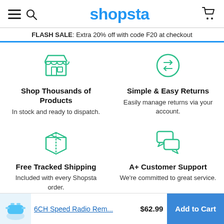shopsta
FLASH SALE: Extra 20% off with code F20 at checkout
[Figure (illustration): Store/shop icon in teal/green outline style]
Shop Thousands of Products
In stock and ready to dispatch.
[Figure (illustration): Circular arrows/returns icon in teal/green outline style]
Simple & Easy Returns
Easily manage returns via your account.
[Figure (illustration): Box/package icon in teal/green outline style]
Free Tracked Shipping
Included with every Shopsta order.
[Figure (illustration): Chat/speech bubbles icon in teal/green outline style]
A+ Customer Support
We're committed to great service.
6CH Speed Radio Rem... $62.99 Add to Cart